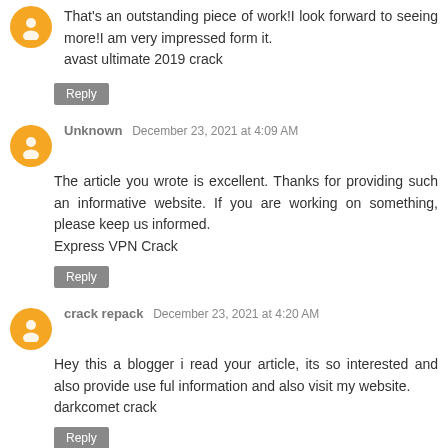That's an outstanding piece of work!I look forward to seeing more!I am very impressed form it.
avast ultimate 2019 crack
Reply
Unknown  December 23, 2021 at 4:09 AM
The article you wrote is excellent. Thanks for providing such an informative website. If you are working on something, please keep us informed.
Express VPN Crack
Reply
crack repack  December 23, 2021 at 4:20 AM
Hey this a blogger i read your article, its so interested and also provide use ful information and also visit my website.
darkcomet crack
Reply